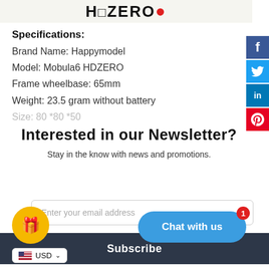[Figure (logo): HDZero logo with red dot on white/light background banner]
Specifications:
Brand Name: Happymodel
Model: Mobula6 HDZERO
Frame wheelbase: 65mm
Weight: 23.5 gram without battery
Size: 80 *80 *50 (partially visible/cut off)
Interested in our Newsletter?
Stay in the know with news and promotions.
Enter your email address
Subscribe
Chat with us